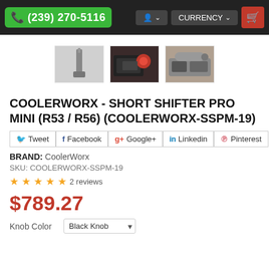(239) 270-5116  CURRENCY
[Figure (photo): Three thumbnail images of the COOLERWORX short shifter product: a shifter lever, interior view with red accents, and dashboard view]
COOLERWORX - SHORT SHIFTER PRO MINI (R53 / R56) (COOLERWORX-SSPM-19)
Tweet
Facebook
Google+
Linkedin
Pinterest
BRAND: CoolerWorx
SKU: COOLERWORX-SSPM-19
★★★★★ 2 reviews
$789.27
Knob Color  Black Knob